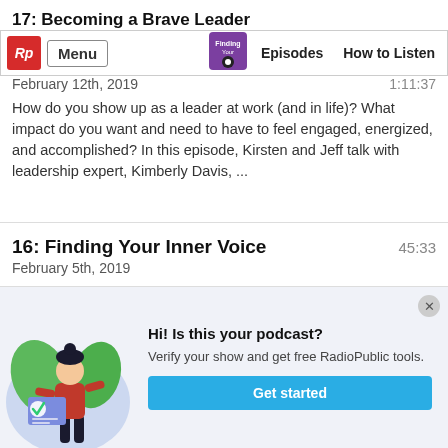17: Becoming a Brave Leader
February 12th, 2019 | 1:11:37 | Episodes | How to Listen
How do you show up as a leader at work (and in life)? What impact do you want and need to have to feel engaged, energized, and accomplished? In this episode, Kirsten and Jeff talk with leadership expert, Kimberly Davis, ...
16: Finding Your Inner Voice
February 5th, 2019 | 45:33
Our lives are rarely linear. Most of start out "here" and then make a series of twists and turns. In this "Transformation Story" we talk with Becca Bycott. Becca's life began to
[Figure (illustration): Illustration of a woman standing with a checkmark card, used in a podcast verification popup]
Hi! Is this your podcast? Verify your show and get free RadioPublic tools.